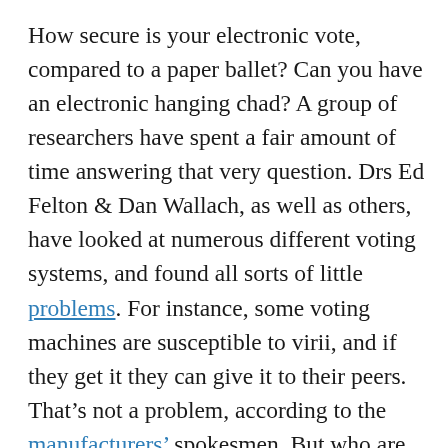How secure is your electronic vote, compared to a paper ballet?  Can you have an electronic hanging chad?  A group of researchers have spent a fair amount of time answering that very question.  Drs Ed Felton & Dan Wallach, as well as others, have looked at numerous different voting systems, and found all sorts of little problems.  For instance, some voting machines are susceptible to virii, and if they get it they can give it to their peers.  That's not a problem, according to the manufacturers' spokesmen.  But who are we to believe?  An academician whose purpose is to advance the state of the art and find truths, or a spokesman, whose purpose is to obscure them?